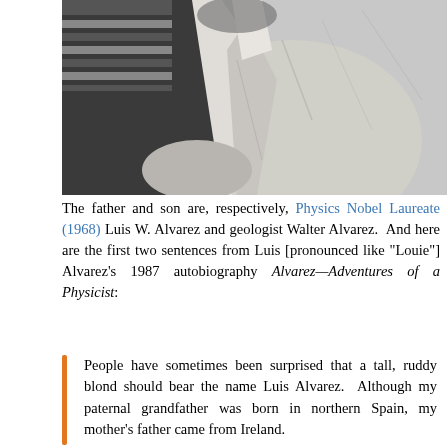[Figure (photo): Black and white photograph showing a man from the chest up, wearing a light-colored jacket, partially cropped so the face is not visible.]
The father and son are, respectively, Physics Nobel Laureate (1968) Luis W. Alvarez and geologist Walter Alvarez.  And here are the first two sentences from Luis [pronounced like "Louie"] Alvarez's 1987 autobiography Alvarez—Adventures of a Physicist:
People have sometimes been surprised that a tall, ruddy blond should bear the name Luis Alvarez.  Although my paternal grandfather was born in northern Spain, my mother's father came from Ireland.